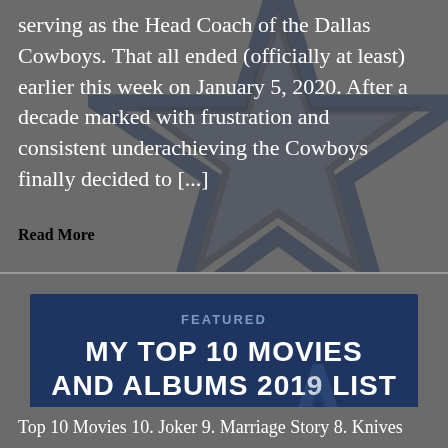serving as the Head Coach of the Dallas Cowboys. That all ended (officially at least) earlier this week on January 5, 2020. After a decade marked with frustration and consistent underachieving the Cowboys finally decided to [...]
Read More
FEATURED
MY TOP 10 MOVIES AND ALBUMS 2019 LIST
Top 10 Movies 10. Joker 9. Marriage Story 8. Knives